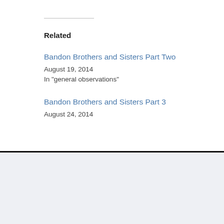Related
Bandon Brothers and Sisters Part Two
August 19, 2014
In "general observations"
Bandon Brothers and Sisters Part 3
August 24, 2014
Bandon Brothers (partially visible)
August 27, 2014 (partially visible)
In "general obse... (partially visible)
About Keith Hirshland
[Figure (logo): Green geometric logo with arrow shapes on white background]
My name is Keith Hirshland and I am a four decad... time both in front of and behind the camera. Durin... my path has crossed in front of, behind and alongsi... And some of the worst. Many of those people I cou... make the effort to spit on me if I was on fire. This t... my Mom and Dad found, fund and run a local affil... teenager approaching adulthood I worked for them ... reporter/anchor and later as a director and produce... the country and then to many places around the wo... it on TV has been my business. Production credits...